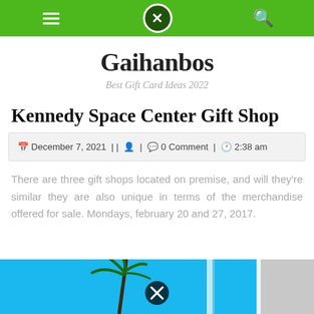Navigation bar with menu, close, and search icons
Gaihanbos
Best Gift Card Ideas 2022
Kennedy Space Center Gift Shop
December 7, 2021 | | 👤 | 💬 0 Comment | 🕐 2:38 am
There are three gift shops located on premise, and will they're similar they are also unique in terms of the merchandise offered for sale. Mondays, february 20 and 27, 2017.
[Figure (photo): Bottom portion of a photo showing a blue sky with palm tree silhouette and a vertical structure, partially visible]